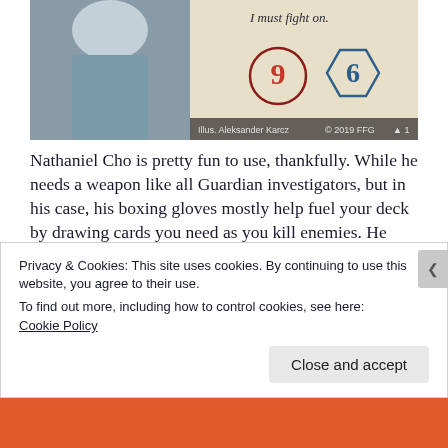[Figure (photo): Partial view of an Arkham Horror card showing a character (Nathaniel Cho), with stat icons showing a red 9 and blue 6, text 'I must fight on.', illustrator credit 'Illus. Aleksander Karcz © 2019 FFG' and card number 1.]
Nathaniel Cho is pretty fun to use, thankfully. While he needs a weapon like all Guardian investigators, but in his case, his boxing gloves mostly help fuel your deck by drawing cards you need as you kill enemies. He relies on Spirit events (one-time use cards basically) to power him up and knock out enemies. One of his cards, One-Two Punch is one of the most powerful in the game as well. He really does feel like a boxer
Privacy & Cookies: This site uses cookies. By continuing to use this website, you agree to their use.
To find out more, including how to control cookies, see here: Cookie Policy
Close and accept